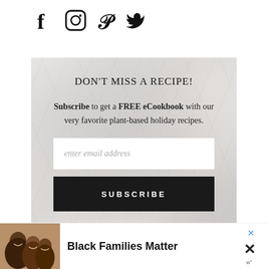[Figure (infographic): Social media icons: Facebook (f), Instagram (circle camera), Pinterest (P), Twitter (bird) in black]
DON'T MISS A RECIPE!
Subscribe to get a FREE eCookbook with our very favorite plant-based holiday recipes.
enter email address
SUBSCRIBE
Black Families Matter